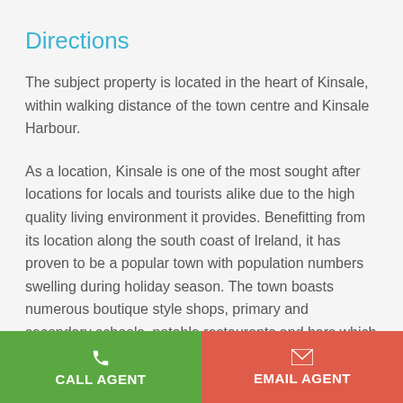Directions
The subject property is located in the heart of Kinsale, within walking distance of the town centre and Kinsale Harbour.
As a location, Kinsale is one of the most sought after locations for locals and tourists alike due to the high quality living environment it provides. Benefitting from its location along the south coast of Ireland, it has proven to be a popular town with population numbers swelling during holiday season. The town boasts numerous boutique style shops, primary and secondary schools, notable restaurants and bars which include a Michelin Star restaurant as well as a number of sporting facilities catering for soccer, golf, rugby, hockey, GAA, rowing and sailing among many others.
CALL AGENT | EMAIL AGENT